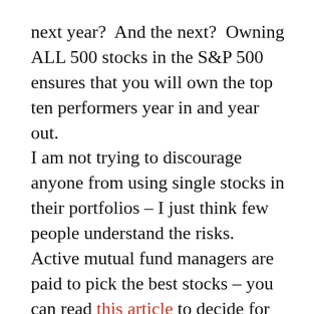next year?  And the next?  Owning ALL 500 stocks in the S&P 500 ensures that you will own the top ten performers year in and year out.
I am not trying to discourage anyone from using single stocks in their portfolios – I just think few people understand the risks.  Active mutual fund managers are paid to pick the best stocks – you can read this article to decide for yourself how well they have done.  If you want to swing for the fences, just understand that you may strike out.  Most people can't afford to strike out when it comes to investing for retirement –